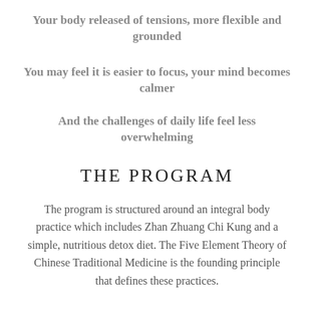Your body released of tensions, more flexible and grounded
You may feel it is easier to focus, your mind becomes calmer
And the challenges of daily life feel less overwhelming
THE PROGRAM
The program is structured around an integral body practice which includes Zhan Zhuang Chi Kung and a simple, nutritious detox diet. The Five Element Theory of Chinese Traditional Medicine is the founding principle that defines these practices.